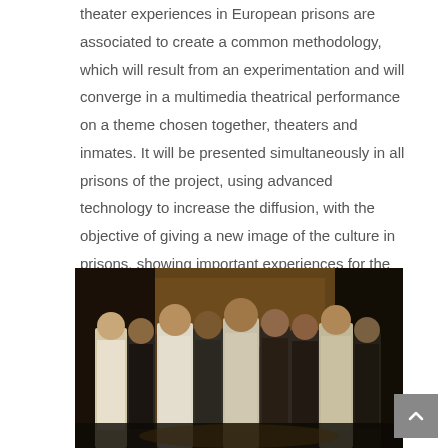theater experiences in European prisons are associated to create a common methodology, which will result from an experimentation and will converge in a multimedia theatrical performance on a theme chosen together, theaters and inmates. It will be presented simultaneously in all prisons of the project, using advanced technology to increase the diffusion, with the objective of giving a new image of the culture in prisons, showing important experiences for the humanization and effectiveness of the European penitentiary system. This product is in fact
[Figure (photo): Group of men standing with their backs to the camera in a dimly lit room, appearing to be in a prison or institutional setting.]